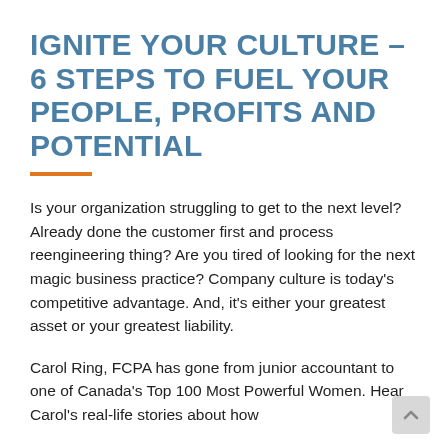IGNITE YOUR CULTURE – 6 STEPS TO FUEL YOUR PEOPLE, PROFITS AND POTENTIAL
Is your organization struggling to get to the next level? Already done the customer first and process reengineering thing? Are you tired of looking for the next magic business practice? Company culture is today's competitive advantage. And, it's either your greatest asset or your greatest liability.
Carol Ring, FCPA has gone from junior accountant to one of Canada's Top 100 Most Powerful Women. Hear Carol's real-life stories about how